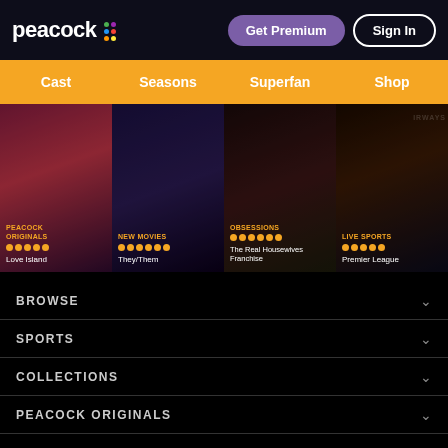[Figure (screenshot): Peacock streaming service website header with logo, Get Premium button, and Sign In button on dark background]
Cast | Seasons | Superfan | Shop
[Figure (screenshot): Carousel of content cards: Peacock Originals - Love Island, New Movies - They/Them, Obsessions - The Real Housewives Franchise, Live Sports - Premier League]
BROWSE
SPORTS
COLLECTIONS
PEACOCK ORIGINALS
TRENDING